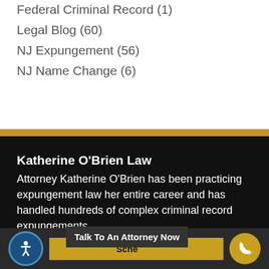Federal Criminal Record (1)
Legal Blog (60)
NJ Expungement (56)
NJ Name Change (6)
Katherine O'Brien Law
Attorney Katherine O'Brien has been practicing expungement law her entire career and has handled hundreds of complex criminal record expungements.
Schedule | Talk To An Attorney Now